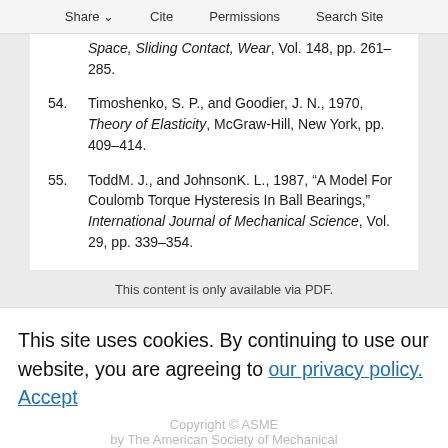Share  Cite  Permissions  Search Site
Space, Sliding Contact, Wear, Vol. 148, pp. 261–285.
54. Timoshenko, S. P., and Goodier, J. N., 1970, Theory of Elasticity, McGraw-Hill, New York, pp. 409–414.
55. ToddM. J., and JohnsonK. L., 1987, "A Model For Coulomb Torque Hysteresis In Ball Bearings," International Journal of Mechanical Science, Vol. 29, pp. 339–354.
This content is only available via PDF.
This site uses cookies. By continuing to use our website, you are agreeing to our privacy policy. Accept
Copyright © ASME
by The American Society of Mechanical